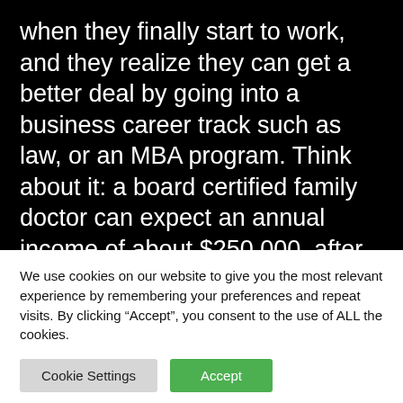when they finally start to work, and they realize they can get a better deal by going into a business career track such as law, or an MBA program. Think about it: a board certified family doctor can expect an annual income of about $250,000, after spending 11 years in training (4 years for a bachelor's degree, 4 years in medical school, and 3 years in residency). Student loan debt at the end of
We use cookies on our website to give you the most relevant experience by remembering your preferences and repeat visits. By clicking “Accept”, you consent to the use of ALL the cookies.